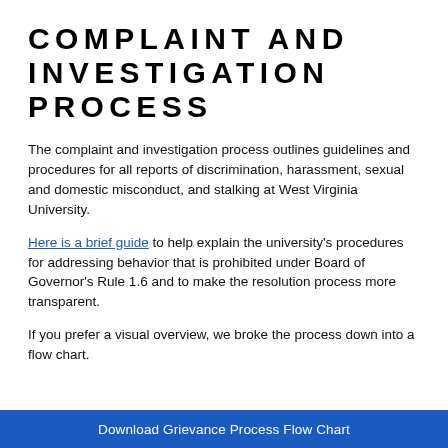COMPLAINT AND INVESTIGATION PROCESS
The complaint and investigation process outlines guidelines and procedures for all reports of discrimination, harassment, sexual and domestic misconduct, and stalking at West Virginia University.
Here is a brief guide to help explain the university's procedures for addressing behavior that is prohibited under Board of Governor's Rule 1.6 and to make the resolution process more transparent.
If you prefer a visual overview, we broke the process down into a flow chart.
Download Grievance Process Flow Chart